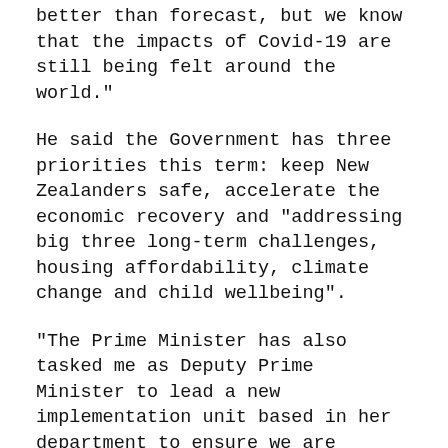better than forecast, but we know that the impacts of Covid-19 are still being felt around the world."
He said the Government has three priorities this term: keep New Zealanders safe, accelerate the economic recovery and "addressing big three long-term challenges, housing affordability, climate change and child wellbeing".
"The Prime Minister has also tasked me as Deputy Prime Minister to lead a new implementation unit based in her department to ensure we are tackling these core priorities," Robertson said.
"The unit will be funded through Budget 2021 and will monitor and support implementation of a number of our critical initiatives are tied...